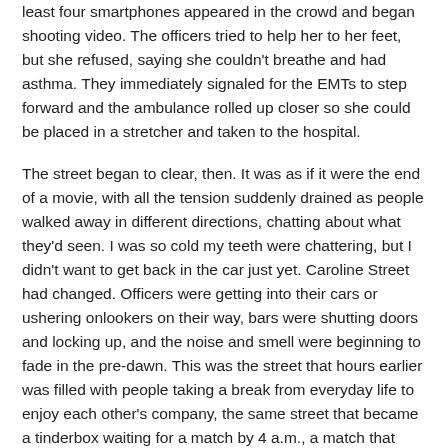least four smartphones appeared in the crowd and began shooting video. The officers tried to help her to her feet, but she refused, saying she couldn't breathe and had asthma. They immediately signaled for the EMTs to step forward and the ambulance rolled up closer so she could be placed in a stretcher and taken to the hospital.
The street began to clear, then. It was as if it were the end of a movie, with all the tension suddenly drained as people walked away in different directions, chatting about what they'd seen. I was so cold my teeth were chattering, but I didn't want to get back in the car just yet. Caroline Street had changed. Officers were getting into their cars or ushering onlookers on their way, bars were shutting doors and locking up, and the noise and smell were beginning to fade in the pre-dawn. This was the street that hours earlier was filled with people taking a break from everyday life to enjoy each other's company, the same street that became a tinderbox waiting for a match by 4 a.m., a match that never lit